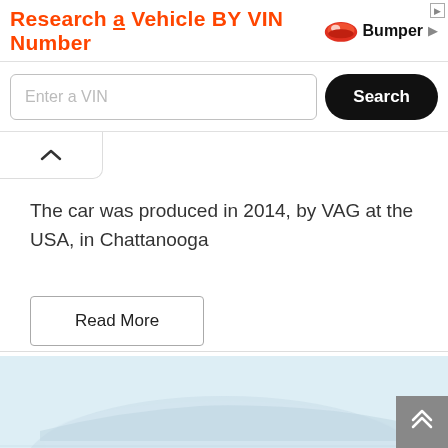[Figure (infographic): Bumper.com ad banner: 'Research a Vehicle BY VIN Number' in orange bold text with Bumper logo (red/orange car icon)]
Enter a VIN
Search
The car was produced in 2014, by VAG at the USA, in Chattanooga
Read More
[Figure (photo): Partial view of a car in light blue-grey color against a light background, lower portion of the page]